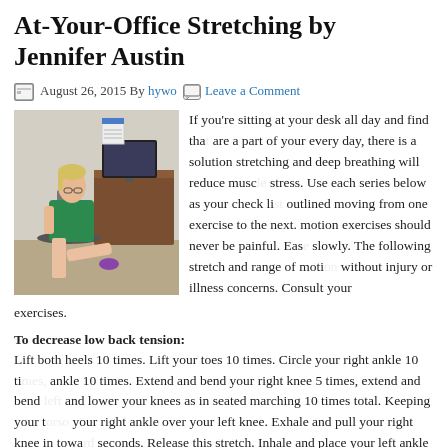At-Your-Office Stretching by Jennifer Austin
August 26, 2015 By hywo  Leave a Comment
[Figure (photo): Woman sitting in office chair performing a leg stretch exercise at her desk]
If you're sitting at your desk all day and find that aches and pains are a part of your every day, there is a solution. Simple stretching and deep breathing will reduce muscle tension and stress. Use each series below as your check list for the day, outlined moving from one exercise to the next. Range of motion exercises should never be painful. Ease into each stretch slowly. The following stretch and range of motion series is designed without injury or illness concerns. Consult your exercises.
To decrease low back tension:
Lift both heels 10 times. Lift your toes 10 times. Circle your right ankle 10 times, circle your left ankle 10 times. Extend and bend your right knee 5 times, extend and bend your left knee 5 times. Raise and lower your knees as in seated marching 10 times total. Keeping your torso straight, place your right ankle over your left knee. Exhale and pull your right knee in toward your chest and hold for 10 seconds. Release this stretch. Inhale and place your left ankle over your right knee. Exhale and pull your left knee in toward your chest and hold for 10 seconds. Release. Inhale while raising your right knee straight up toward your chest. Exhale and hold for 10 seconds. Release your right leg back to the floor. Inhale while pulling your left knee up toward your chest. Exhale and hold for 10 seconds. Release this stretch. Drop your chin to your chest and place both